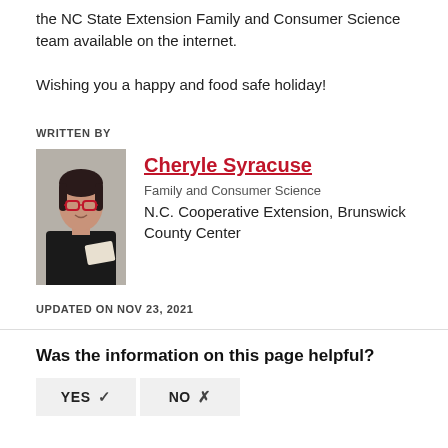the NC State Extension Family and Consumer Science team available on the internet.
Wishing you a happy and food safe holiday!
WRITTEN BY
[Figure (photo): Portrait photo of Cheryle Syracuse, a woman with dark hair and red glasses wearing a black top, smiling and holding a piece of paper.]
Cheryle Syracuse
Family and Consumer Science
N.C. Cooperative Extension, Brunswick County Center
UPDATED ON NOV 23, 2021
Was the information on this page helpful?
YES ✓   NO ✗